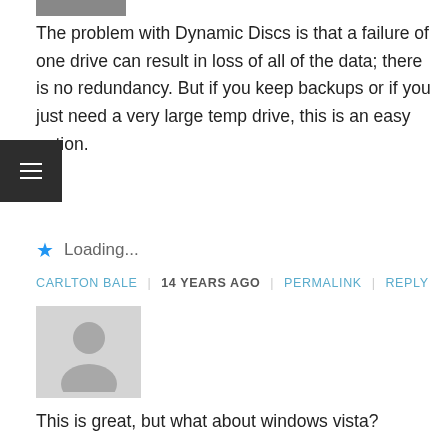[Figure (photo): Partial avatar image at top of page]
The problem with Dynamic Discs is that a failure of one drive can result in loss of all of the data; there is no redundancy. But if you keep backups or if you just need a very large temp drive, this is an easy option.
★  Loading...
CARLTON BALE  |  14 YEARS AGO  |  PERMALINK  |  REPLY
[Figure (illustration): Generic user avatar placeholder (gray silhouette)]
This is great, but what about windows vista?
Are there any limitations in ANY of vistas editions, for example, does the home basic or other low end editions support GPT volumes over 2 tb? I can't seem to find any info on this and I have called microsoft pre-sales and they have proven to be *surprise* stupid.
Any info would be appreciated about >2TB volume / GPT support in all versions of vista.